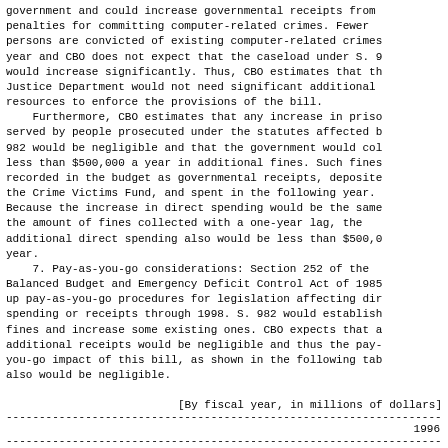government and could increase governmental receipts from penalties for committing computer-related crimes. Fewer persons are convicted of existing computer-related crimes a year and CBO does not expect that the caseload under S. 982 would increase significantly. Thus, CBO estimates that the Justice Department would not need significant additional resources to enforce the provisions of the bill.
    Furthermore, CBO estimates that any increase in prison time served by people prosecuted under the statutes affected by S. 982 would be negligible and that the government would collect less than $500,000 a year in additional fines. Such fines are recorded in the budget as governmental receipts, deposited in the Crime Victims Fund, and spent in the following year. Because the increase in direct spending would be the same as the amount of fines collected with a one-year lag, the additional direct spending also would be less than $500,000 a year.
    7. Pay-as-you-go considerations: Section 252 of the Balanced Budget and Emergency Deficit Control Act of 1985 sets up pay-as-you-go procedures for legislation affecting direct spending or receipts through 1998. S. 982 would establish new fines and increase some existing ones. CBO expects that any additional receipts would be negligible and thus the pay-as-you-go impact of this bill, as shown in the following table, also would be negligible.
[By fiscal year, in millions of dollars]
|  | 1996 |
| --- | --- |
| Change in outlays | 0 |